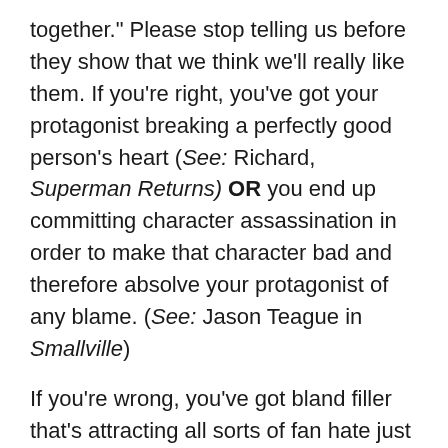together." Please stop telling us before they show that we think we'll really like them. If you're right, you've got your protagonist breaking a perfectly good person's heart (See: Richard, Superman Returns) OR you end up committing character assassination in order to make that character bad and therefore absolve your protagonist of any blame. (See: Jason Teague in Smallville)
If you're wrong, you've got bland filler that's attracting all sorts of fan hate just through their existence. If they're lucky, the audience ends up forgetting they were ever even there. That's what happens when you write a plot point rather than a person.
Special shout-out to the comic-based media properties who have a tendency to give this character a well-known comics name, but none of their interesting comics